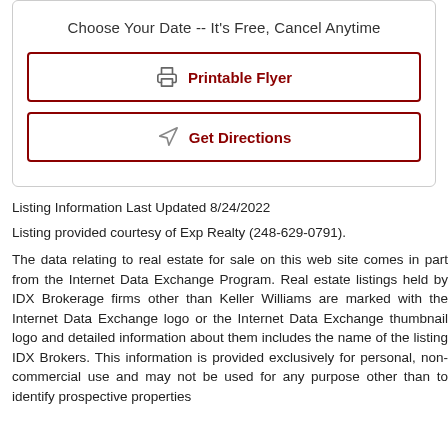Choose Your Date -- It's Free, Cancel Anytime
Printable Flyer
Get Directions
Listing Information Last Updated 8/24/2022
Listing provided courtesy of Exp Realty (248-629-0791).
The data relating to real estate for sale on this web site comes in part from the Internet Data Exchange Program. Real estate listings held by IDX Brokerage firms other than Keller Williams are marked with the Internet Data Exchange logo or the Internet Data Exchange thumbnail logo and detailed information about them includes the name of the listing IDX Brokers. This information is provided exclusively for personal, non-commercial use and may not be used for any purpose other than to identify prospective properties